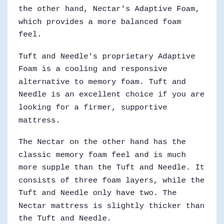the other hand, Nectar's Adaptive Foam, which provides a more balanced foam feel.
Tuft and Needle's proprietary Adaptive Foam is a cooling and responsive alternative to memory foam. Tuft and Needle is an excellent choice if you are looking for a firmer, supportive mattress.
The Nectar on the other hand has the classic memory foam feel and is much more supple than the Tuft and Needle. It consists of three foam layers, while the Tuft and Needle only have two. The Nectar mattress is slightly thicker than the Tuft and Needle.
The Tuft and Needle are more affordable than the Nectar in terms of price. If you want a more budget-friendly option and a more responsive mattress, go for the Tuft and Needle.
The Nectar is best for side sleepers who want better pressure relief on the shoulders and hips and couples who want less